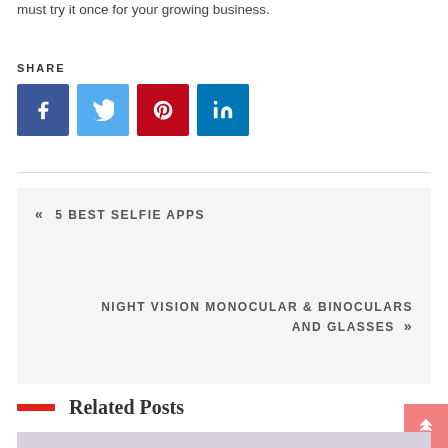must try it once for your growing business.
SHARE
[Figure (infographic): Four social media share buttons: Facebook (blue), Twitter (light blue), Pinterest (red), LinkedIn (teal/blue)]
« 5 BEST SELFIE APPS
NIGHT VISION MONOCULAR & BINOCULARS AND GLASSES »
Related Posts